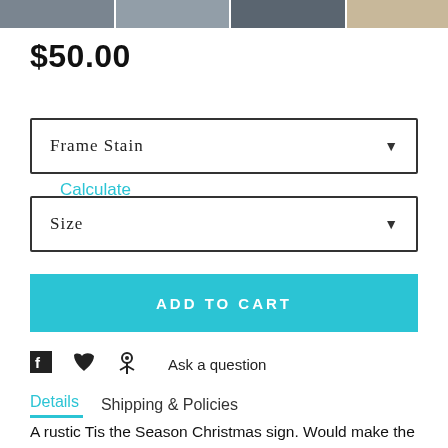[Figure (photo): Cropped top portion of product images showing rustic sign in multiple views]
$50.00
Calculate Shipping
Frame Stain
Size
ADD TO CART
Ask a question
Details  Shipping & Policies
A rustic Tis the Season Christmas sign. Would make the cutest addition to your Thanksgiving or everyday decor! This frame/ornament design is made from 100% high quality and